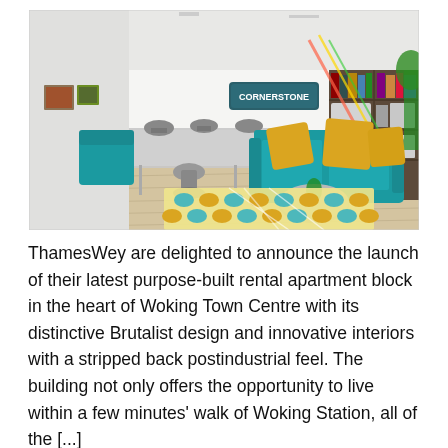[Figure (photo): Interior rendering of a modern co-working/lounge space with a CORNERSTONE sign on the wall, teal sofa with yellow cushions, a patterned yellow and teal rug, white office desks with chairs, a bookshelf, and wood-effect flooring.]
ThamesWey are delighted to announce the launch of their latest purpose-built rental apartment block in the heart of Woking Town Centre with its distinctive Brutalist design and innovative interiors with a stripped back postindustrial feel. The building not only offers the opportunity to live within a few minutes' walk of Woking Station, all of the [...]